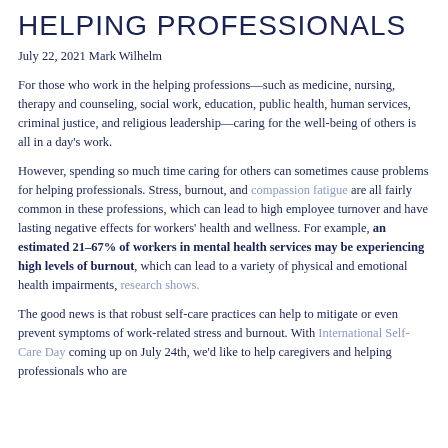Helping Professionals
July 22, 2021 Mark Wilhelm
For those who work in the helping professions—such as medicine, nursing, therapy and counseling, social work, education, public health, human services, criminal justice, and religious leadership—caring for the well-being of others is all in a day's work.
However, spending so much time caring for others can sometimes cause problems for helping professionals. Stress, burnout, and compassion fatigue are all fairly common in these professions, which can lead to high employee turnover and have lasting negative effects for workers' health and wellness. For example, an estimated 21–67% of workers in mental health services may be experiencing high levels of burnout, which can lead to a variety of physical and emotional health impairments, research shows.
The good news is that robust self-care practices can help to mitigate or even prevent symptoms of work-related stress and burnout. With International Self-Care Day coming up on July 24th, we'd like to help caregivers and helping professionals who are